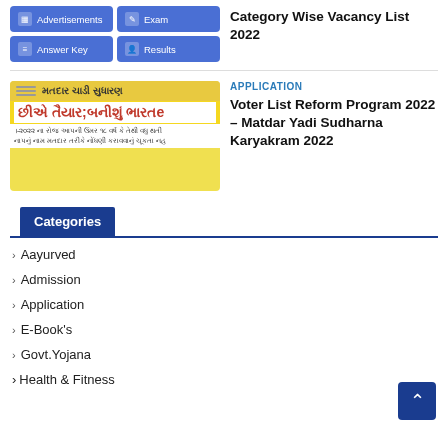[Figure (screenshot): Navigation grid with 4 blue buttons: Advertisements, Exam, Answer Key, Results]
Category Wise Vacancy List 2022
[Figure (illustration): Gujarati-language voter list reform program banner with red and yellow text: 'મતદાર ચાડી સુધારણ' and 'છીએ તૈયાર;બનીશું ભારત' with small Gujarati description text below]
APPLICATION
Voter List Reform Program 2022 – Matdar Yadi Sudharna Karyakram 2022
Categories
Aayurved
Admission
Application
E-Book's
Govt.Yojana
Health & Fitness